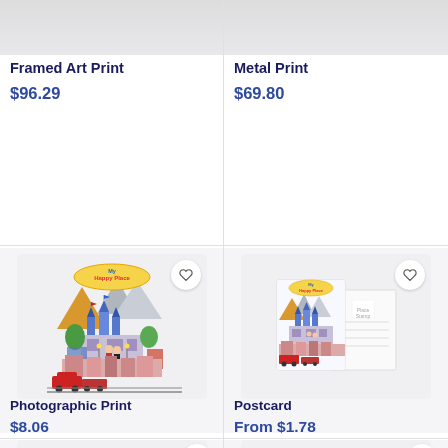[Figure (photo): Partial top of Framed Art Print product image, cropped]
Framed Art Print
$96.29
[Figure (photo): Partial top of Metal Print product image, cropped]
Metal Print
$69.80
[Figure (illustration): My Happy Place illustration showing Disneyland-style castle, mountains, characters, and train]
Photographic Print
$8.06
[Figure (illustration): Postcard version of My Happy Place illustration showing small cards]
Postcard
From $1.78
[Figure (photo): Partial bottom row left product image, cropped]
[Figure (photo): Partial bottom row right product image, cropped]